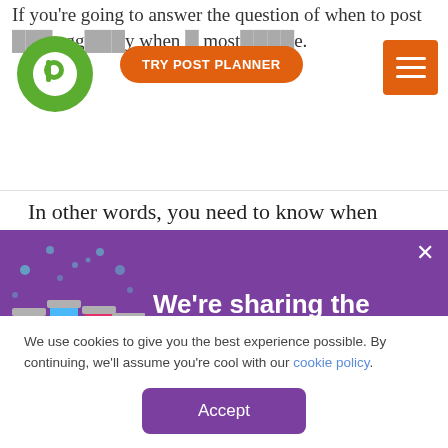If you're going to answer the question of when to post on a page...agg...y when...most...
[Figure (logo): Post Planner green map pin logo with white 'p' icon]
TRY POST PLANNER
In other words, you need to know when people will be online to see your post!
If you search for that question on Google, you'll find dozens of completely different answers.
[Figure (infographic): Purple banner with illustration of test tubes containing social media icons (Facebook, Twitter, Instagram, Pinterest) and bold white text: We're sharing the science of social media. Close X button top right.]
We use cookies to give you the best experience possible. By continuing, we'll assume you're cool with our cookie policy.
Accept